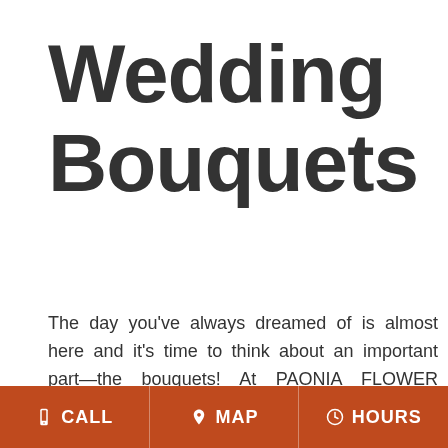Wedding Bouquets
The day you've always dreamed of is almost here and it's time to think about an important part—the bouquets! At PAONIA FLOWER SHOP, we strive to intertwine your wedding theme into the flowers we use, elevating it even further with the elegant and enticing florals we have to offer. Bring your wedding-day vision to life and accentuate your style with fresh flowers artistically arranged in a stunning bouquet fit f…
CALL  MAP  HOURS